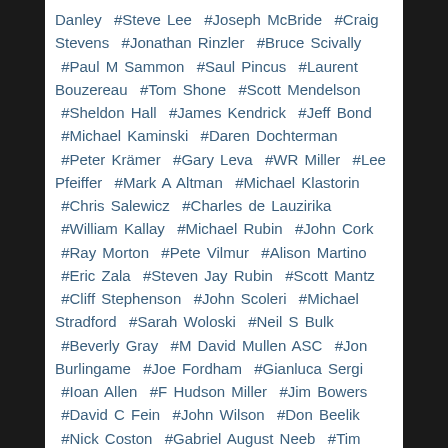Danley  #Steve Lee  #Joseph McBride  #Craig Stevens  #Jonathan Rinzler  #Bruce Scivally  #Paul M Sammon  #Saul Pincus  #Laurent Bouzereau  #Tom Shone  #Scott Mendelson  #Sheldon Hall  #James Kendrick  #Jeff Bond  #Michael Kaminski  #Daren Dochterman  #Peter Krämer  #Gary Leva  #WR Miller  #Lee Pfeiffer  #Mark A Altman  #Michael Klastorin  #Chris Salewicz  #Charles de Lauzirika  #William Kallay  #Michael Rubin  #John Cork  #Ray Morton  #Pete Vilmur  #Alison Martino  #Eric Zala  #Steven Jay Rubin  #Scott Mantz  #Cliff Stephenson  #John Scoleri  #Michael Stradford  #Sarah Woloski  #Neil S Bulk  #Beverly Gray  #M David Mullen ASC  #Jon Burlingame  #Joe Fordham  #Gianluca Sergi  #Ioan Allen  #F Hudson Miller  #Jim Bowers  #David C Fein  #John Wilson  #Don Beelik  #Nick Coston  #Gabriel August Neeb  #Tim Bishop  #Gary Gerani  #Scott Rogers  #Caseen Gaines
READ MORE >>